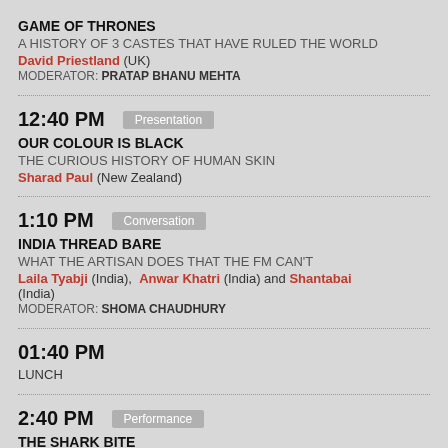GAME OF THRONES
A HISTORY OF 3 CASTES THAT HAVE RULED THE WORLD
David Priestland (UK)
MODERATOR: PRATAP BHANU MEHTA
12:40 PM  Presentation
OUR COLOUR IS BLACK
THE CURIOUS HISTORY OF HUMAN SKIN
Sharad Paul (New Zealand)
1:10 PM  Conversation
INDIA THREAD BARE
WHAT THE ARTISAN DOES THAT THE FM CAN'T
Laila Tyabji (India),  Anwar Khatri (India) and Shantabai (India)
MODERATOR: SHOMA CHAUDHURY
01:40 PM
LUNCH
2:40 PM  Performance
THE SHARK BITE